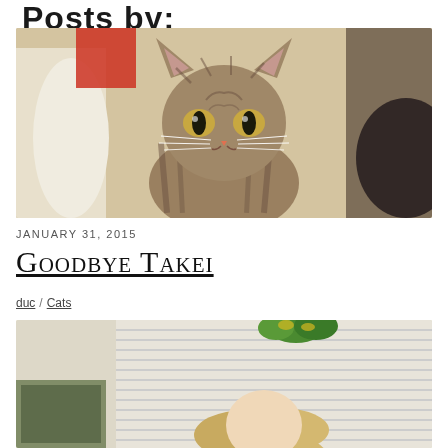Posts by:
[Figure (photo): Close-up photo of a tabby cat looking directly at the camera, with green-yellow eyes, in an indoor setting with a blurred background.]
JANUARY 31, 2015
Goodbye Takei
duc  Cats
[Figure (photo): Photo of a blonde woman indoors near window blinds with a decorative green item hanging above, partially cropped at bottom of page.]